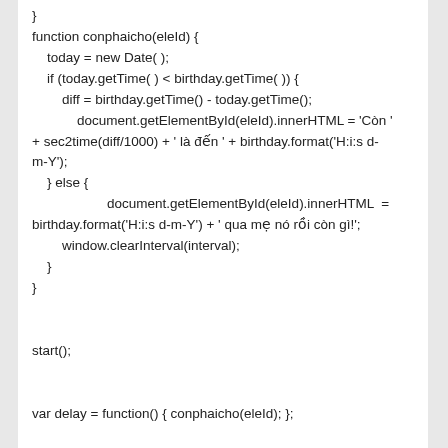}
function conphaicho(eleId) {
    today = new Date( );
    if (today.getTime( ) < birthday.getTime( )) {
        diff = birthday.getTime() - today.getTime();
            document.getElementById(eleId).innerHTML = 'Còn ' + sec2time(diff/1000) + ' là đến ' + birthday.format('H:i:s d-m-Y');
    } else {
                    document.getElementById(eleId).innerHTML  = birthday.format('H:i:s d-m-Y') + ' qua mẹ nó rồi còn gì!';
        window.clearInterval(interval);
    }
}

start();


var delay = function() { conphaicho(eleId); };